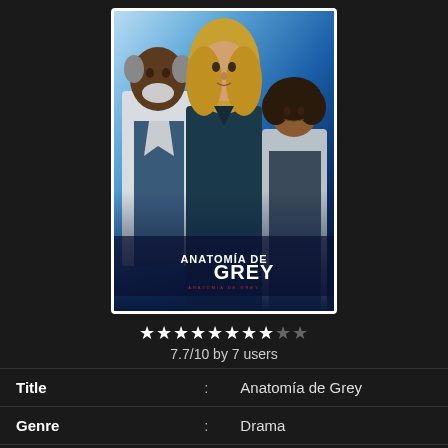[Figure (photo): TV show poster for Anatomía de Grey (Grey's Anatomy) showing three cast members - an older Black man in lab coat on left, a blonde woman in center, and a shorter woman on right, against a blue background. Title 'ANATOMÍA DE GREY' displayed at bottom of poster.]
7.7/10 by 7 users
| Title | : | Anatomía de Grey |
| Genre | : | Drama |
| Air Date | : | 2006-02-26 |
| Season Number | : | 2 |